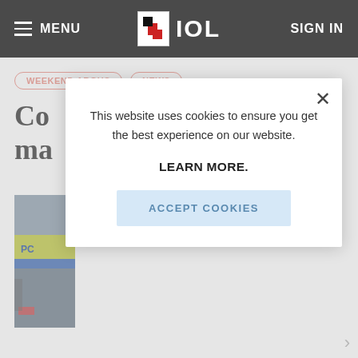MENU | IOL | SIGN IN
WEEKEND ARGUS   NEWS
Co... ma...
[Figure (photo): Partial view of a police vehicle with yellow and blue markings, partially obscured by a cookie consent modal overlay.]
This website uses cookies to ensure you get the best experience on our website.

LEARN MORE.

ACCEPT COOKIES